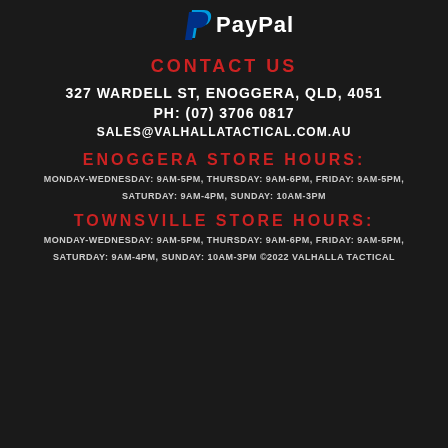[Figure (logo): PayPal logo in white on dark background]
CONTACT US
327 WARDELL ST, ENOGGERA, QLD, 4051
PH: (07) 3706 0817
SALES@VALHALLATACTICAL.COM.AU
ENOGGERA STORE HOURS:
MONDAY-WEDNESDAY: 9AM-5PM, THURSDAY: 9AM-6PM, FRIDAY: 9AM-5PM,
SATURDAY: 9AM-4PM, SUNDAY: 10AM-3PM
TOWNSVILLE STORE HOURS:
MONDAY-WEDNESDAY: 9AM-5PM, THURSDAY: 9AM-6PM, FRIDAY: 9AM-5PM,
SATURDAY: 9AM-4PM, SUNDAY: 10AM-3PM ©2022 VALHALLA TACTICAL